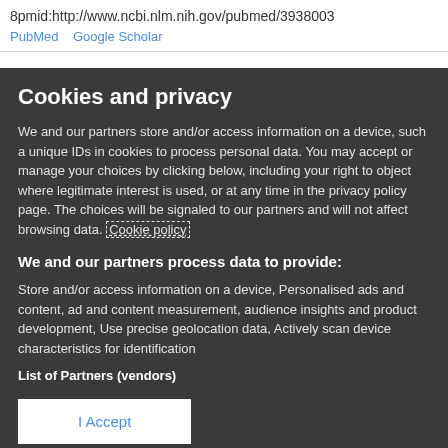8pmid:http://www.ncbi.nlm.nih.gov/pubmed/3938003
PubMed   Google Scholar
Cookies and privacy
We and our partners store and/or access information on a device, such a unique IDs in cookies to process personal data. You may accept or manage your choices by clicking below, including your right to object where legitimate interest is used, or at any time in the privacy policy page. These choices will be signaled to our partners and will not affect browsing data. Cookie policy
We and our partners process data to provide:
Store and/or access information on a device, Personalised ads and content, ad and content measurement, audience insights and product development, Use precise geolocation data, Actively scan device characteristics for identification
List of Partners (vendors)
I Accept